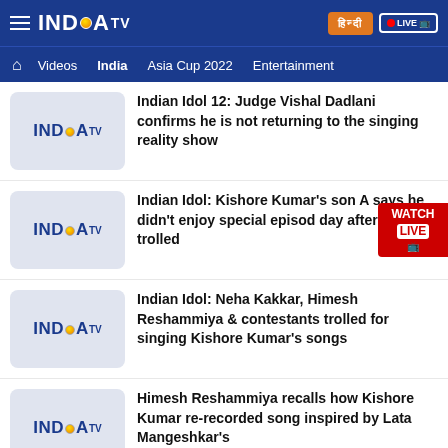INDIA TV — Header navigation bar with Videos, India, Asia Cup 2022, Entertainment tabs
Indian Idol 12: Judge Vishal Dadlani confirms he is not returning to the singing reality show
Indian Idol: Kishore Kumar's son A says he didn't enjoy special episode day after it gets trolled
Indian Idol: Neha Kakkar, Himesh Reshammiya & contestants trolled for singing Kishore Kumar's songs
Himesh Reshammiya recalls how Kishore Kumar re-recorded song inspired by Lata Mangeshkar's